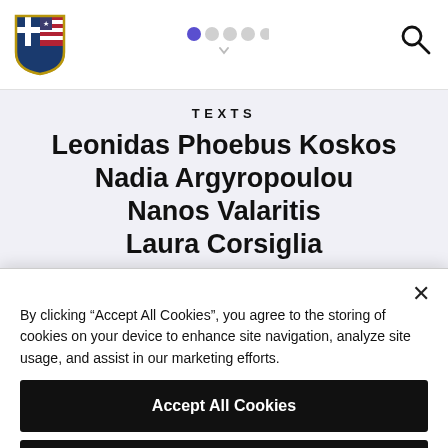[Figure (logo): Greek-American shield logo with blue/white cross and American flag stripes]
[Figure (infographic): Navigation dots: one filled purple, four gray, with a downward chevron below]
[Figure (infographic): Search icon (magnifying glass)]
TEXTS
Leonidas Phoebus Koskos
Nadia Argyropoulou
Nanos Valaritis
Laura Corsiglia
By clicking “Accept All Cookies”, you agree to the storing of cookies on your device to enhance site navigation, analyze site usage, and assist in our marketing efforts.
Accept All Cookies
Reject All
Cookies Settings